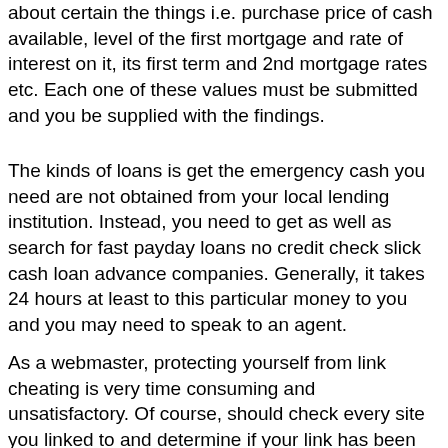about certain the things i.e. purchase price of cash available, level of the first mortgage and rate of interest on it, its first term and 2nd mortgage rates etc. Each one of these values must be submitted and you be supplied with the findings.
The kinds of loans is get the emergency cash you need are not obtained from your local lending institution. Instead, you need to get as well as search for fast payday loans no credit check slick cash loan advance companies. Generally, it takes 24 hours at least to this particular money to you and you may need to speak to an agent.
As a webmaster, protecting yourself from link cheating is very time consuming and unsatisfactory. Of course, should check every site you linked to and determine if your link has been added to that site.